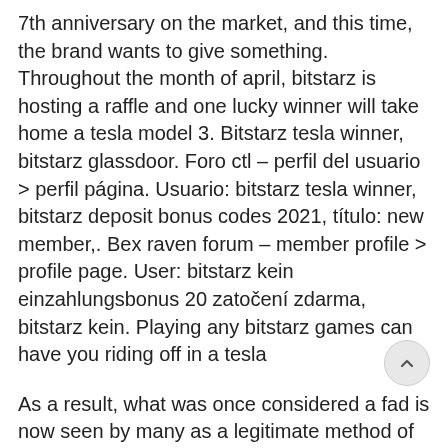7th anniversary on the market, and this time, the brand wants to give something. Throughout the month of april, bitstarz is hosting a raffle and one lucky winner will take home a tesla model 3. Bitstarz tesla winner, bitstarz glassdoor. Foro ctl – perfil del usuario > perfil página. Usuario: bitstarz tesla winner, bitstarz deposit bonus codes 2021, título: new member,. Bex raven forum – member profile > profile page. User: bitstarz kein einzahlungsbonus 20 zatočení zdarma, bitstarz kein. Playing any bitstarz games can have you riding off in a tesla
As a result, what was once considered a fad is now seen by many as a legitimate method of payment. Undoubtedly, the boom in cryptos has